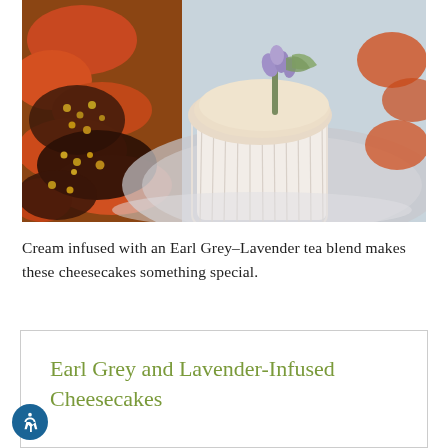[Figure (photo): Close-up photo of Earl Grey and Lavender-Infused Cheesecakes on a silver plate inside white paper cupcake liners, garnished with lavender flowers and sage. Also visible are chocolate-covered items with nuts on the left, and orange/red candied fruit pieces.]
Cream infused with an Earl Grey–Lavender tea blend makes these cheesecakes something special.
Earl Grey and Lavender-Infused Cheesecakes